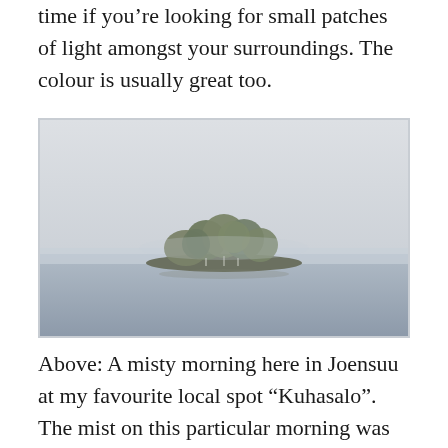time if you're looking for small patches of light amongst your surroundings. The colour is usually great too.
[Figure (photo): A misty morning landscape showing a small island with trees emerging from a calm lake or body of water, with fog/mist in the background creating a minimal, atmospheric composition. The sky is overcast and grey-white, and the water reflects similarly muted tones.]
Above: A misty morning here in Joensuu at my favourite local spot “Kuhasalo”. The mist on this particular morning was great,